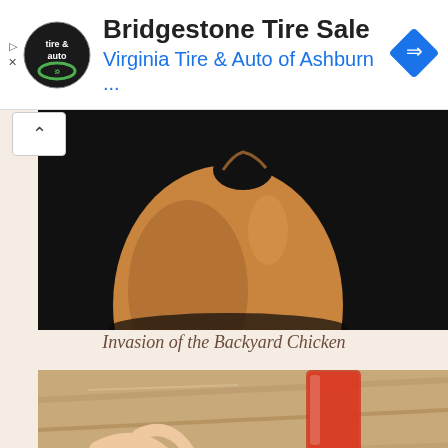[Figure (other): Advertisement banner: Virginia Tire & Auto logo on left, title 'Bridgestone Tire Sale' in bold black, subtitle 'Virginia Tire & Auto of Ashburn ...' in blue, blue diamond navigation icon on right]
[Figure (photo): Close-up photo of a cracked brown egg shell on a dark black background, top portion of egg shell visible with a crack/hole at the top]
Invasion of the Backyard Chicken
[Figure (photo): Photo of a hand picking up cherry tomatoes from a plastic container, with other fruits visible, a glass of red juice/tomato juice in the background, on a wooden surface]